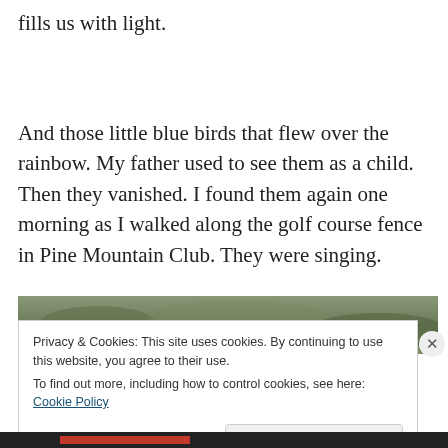fills us with light.
And those little blue birds that flew over the rainbow. My father used to see them as a child. Then they vanished. I found them again one morning as I walked along the golf course fence in Pine Mountain Club. They were singing.
[Figure (photo): Partial view of an outdoor nature photo, showing blurred green/olive foliage background, cropped at the top of the frame.]
Privacy & Cookies: This site uses cookies. By continuing to use this website, you agree to their use.
To find out more, including how to control cookies, see here: Cookie Policy
[Close and accept]